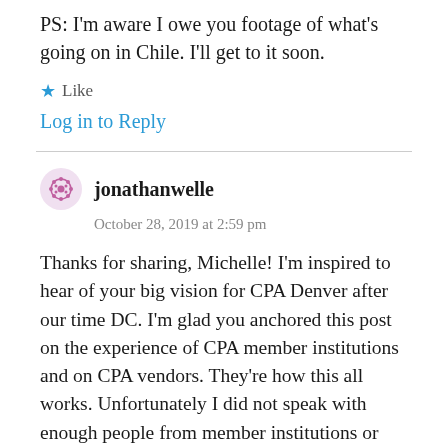PS: I'm aware I owe you footage of what's going on in Chile. I'll get to it soon.
★ Like
Log in to Reply
jonathanwelle
October 28, 2019 at 2:59 pm
Thanks for sharing, Michelle! I'm inspired to hear of your big vision for CPA Denver after our time DC. I'm glad you anchored this post on the experience of CPA member institutions and on CPA vendors. They're how this all works. Unfortunately I did not speak with enough people from member institutions or vendors.